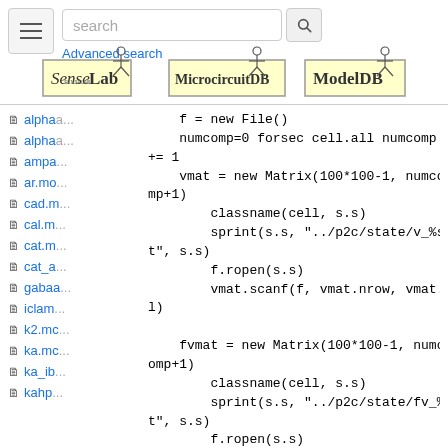[Figure (screenshot): Search bar with hamburger menu, search input field with placeholder 'search', and a search button icon]
Advanced search
[Figure (logo): Three logos side by side: SenseLab, MicrocircuitDB, ModelDB]
alpha...
alpha...
ampa...
ar.mo...
cad.m...
cal.m...
cat.m...
cat_a...
gabaa...
iclam...
k2.mc...
ka.mc...
ka_ib...
kahp...
[Figure (screenshot): Code block showing NEURON/HOC script with file operations, matrix creation, and file reading commands]
f = new File()
    numcomp=0 forsec cell.all numcomp
+= 1
    vmat = new Matrix(100*100-1, numco
mp+1)
        classname(cell, s.s)
        sprint(s.s, "../p2c/state/v_%s.da
t", s.s)
        f.ropen(s.s)
        vmat.scanf(f, vmat.nrow, vmat.nco
l)

    fvmat = new Matrix(100*100-1, numc
omp+1)
        classname(cell, s.s)
        sprint(s.s, "../p2c/state/fv_%s.da
t", s.s)
        f.ropen(s.s)
        fvmat.scanf(f, vmat.nrow, vmat.nco